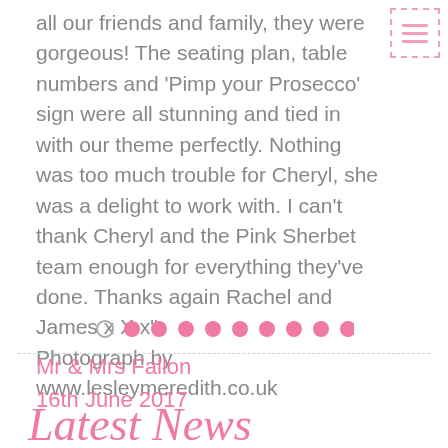all our friends and family, they were gorgeous! The seating plan, table numbers and 'Pimp your Prosecco' sign were all stunning and tied in with our theme perfectly. Nothing was too much trouble for Cheryl, she was a delight to work with. I can't thank Cheryl and the Pink Sherbet team enough for everything they've done. Thanks again Rachel and James x X x" Photograph by www.lesleymeredith.co.uk
Mr & Mrs Fallon
16th June 2017
[Figure (other): Pagination dots row with one outlined circle and nine filled pink circles]
Latest News